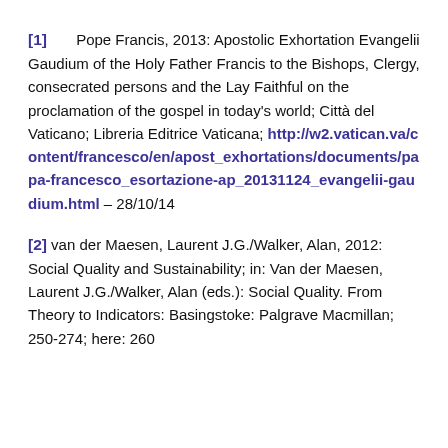[1] Pope Francis, 2013: Apostolic Exhortation Evangelii Gaudium of the Holy Father Francis to the Bishops, Clergy, consecrated persons and the Lay Faithful on the proclamation of the gospel in today's world; Città del Vaticano; Libreria Editrice Vaticana; http://w2.vatican.va/content/francesco/en/apost_exhortations/documents/papa-francesco_esortazione-ap_20131124_evangelii-gaudium.html – 28/10/14
[2] van der Maesen, Laurent J.G./Walker, Alan, 2012: Social Quality and Sustainability; in: Van der Maesen, Laurent J.G./Walker, Alan (eds.): Social Quality. From Theory to Indicators: Basingstoke: Palgrave Macmillan; 250-274; here: 260